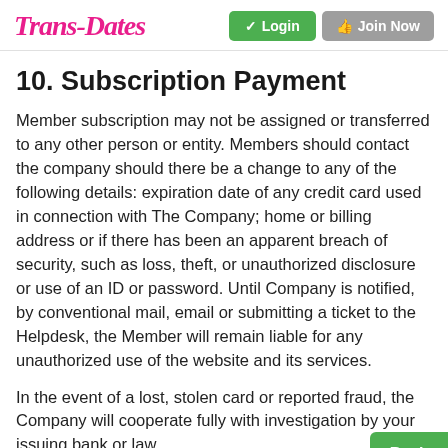Trans-Dates | Login | Join Now
10. Subscription Payment
Member subscription may not be assigned or transferred to any other person or entity. Members should contact the company should there be a change to any of the following details: expiration date of any credit card used in connection with The Company; home or billing address or if there has been an apparent breach of security, such as loss, theft, or unauthorized disclosure or use of an ID or password. Until Company is notified, by conventional mail, email or submitting a ticket to the Helpdesk, the Member will remain liable for any unauthorized use of the website and its services.
In the event of a lost, stolen card or reported fraud, the Company will cooperate fully with investigation by your issuing bank or law